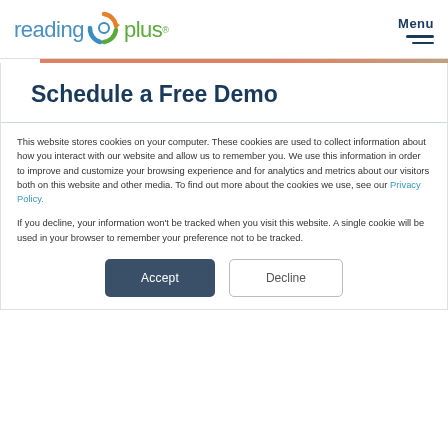[Figure (logo): Reading Plus logo with circular arrow icon in orange, green, and blue, with 'reading' in teal and 'plus' in green text]
Schedule a Free Demo
This website stores cookies on your computer. These cookies are used to collect information about how you interact with our website and allow us to remember you. We use this information in order to improve and customize your browsing experience and for analytics and metrics about our visitors both on this website and other media. To find out more about the cookies we use, see our Privacy Policy.
If you decline, your information won't be tracked when you visit this website. A single cookie will be used in your browser to remember your preference not to be tracked.